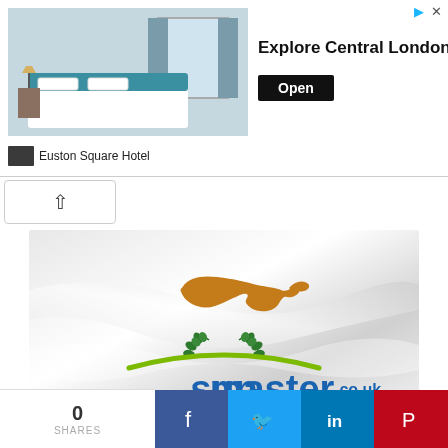[Figure (screenshot): Advertisement banner for Euston Square Hotel — hotel room photo on left, 'Explore Central London' text in center, black 'Open' button on right]
[Figure (photo): Cyprus flag — white background with orange map of Cyprus and two olive branches below it]
Cyprus Island
Information about Cyprus
[Figure (logo): Sunmaster.co.uk logo — green arc above blue/red text 'sunmaster.co.uk' with tagline 'we put u in the sun!']
0 SHARES